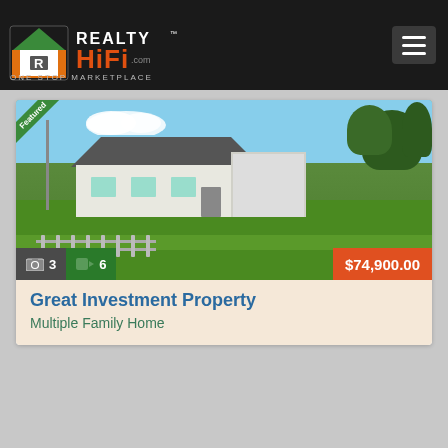RealtyHiFi.com — ONE STOP MARKETPLACE
[Figure (photo): Exterior photo of a ranch-style multiple family home with green lawn, power pole on left, trees in background, blue sky. Featured ribbon in top-left corner. Media count bar at bottom showing 3 photos and 6 videos. Price tag showing $74,900.00.]
Great Investment Property
Multiple Family Home